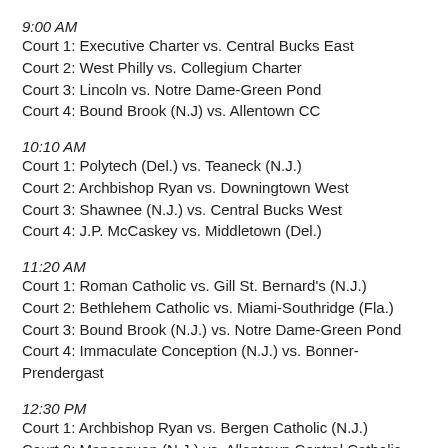9:00 AM
Court 1: Executive Charter vs. Central Bucks East
Court 2: West Philly vs. Collegium Charter
Court 3: Lincoln vs. Notre Dame-Green Pond
Court 4: Bound Brook (N.J) vs. Allentown CC
10:10 AM
Court 1: Polytech (Del.) vs. Teaneck (N.J.)
Court 2: Archbishop Ryan vs. Downingtown West
Court 3: Shawnee (N.J.) vs. Central Bucks West
Court 4: J.P. McCaskey vs. Middletown (Del.)
11:20 AM
Court 1: Roman Catholic vs. Gill St. Bernard's (N.J.)
Court 2: Bethlehem Catholic vs. Miami-Southridge (Fla.)
Court 3: Bound Brook (N.J.) vs. Notre Dame-Green Pond
Court 4: Immaculate Conception (N.J.) vs. Bonner-Prendergast
12:30 PM
Court 1: Archbishop Ryan vs. Bergen Catholic (N.J.)
Court 2: Manasquan (N.J.) vs. Allentown Central Catholic